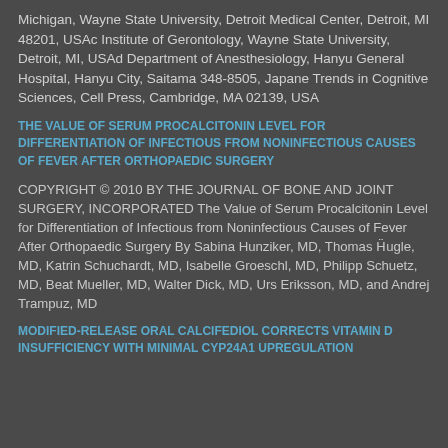Michigan, Wayne State University, Detroit Medical Center, Detroit, MI 48201, USAc Institute of Gerontology, Wayne State University, Detroit, MI, USAd Department of Anesthesiology, Hanyu General Hospital, Hanyu City, Saitama 348-8505, Japane Trends in Cognitive Sciences, Cell Press, Cambridge, MA 02139, USA
THE VALUE OF SERUM PROCALCITONIN LEVEL FOR DIFFERENTIATION OF INFECTIOUS FROM NONINFECTIOUS CAUSES OF FEVER AFTER ORTHOPAEDIC SURGERY
COPYRIGHT © 2010 BY THE JOURNAL OF BONE AND JOINT SURGERY, INCORPORATED The Value of Serum Procalcitonin Level for Differentiation of Infectious from Noninfectious Causes of Fever After Orthopaedic Surgery By Sabina Hunziker, MD, Thomas H¨ugle, MD, Katrin Schuchardt, MD, Isabelle Groeschl, MD, Philipp Schuetz, MD, Beat Mueller, MD, Walter Dick, MD, Urs Eriksson, MD, and Andrej Trampuz, MD
MODIFIED-RELEASE ORAL CALCIFEDIOL CORRECTS VITAMIN D INSUFFICIENCY WITH MINIMAL CYP24A1 UPREGULATION